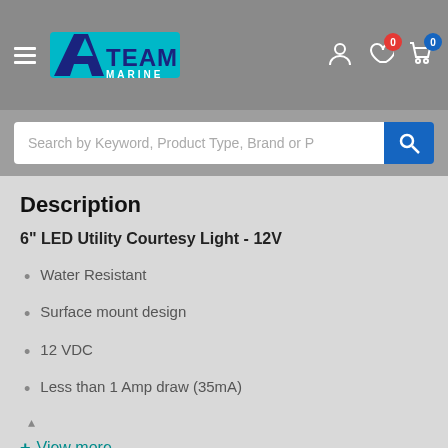[Figure (logo): A-Team Marine logo with teal and blue colors, hamburger menu icon on left, user/wishlist/cart icons on right with badge counts 0]
Search by Keyword, Product Type, Brand or P
Description
6" LED Utility Courtesy Light - 12V
Water Resistant
Surface mount design
12 VDC
Less than 1 Amp draw (35mA)
+ View more